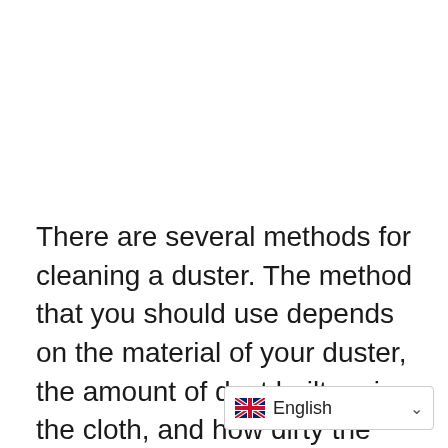There are several methods for cleaning a duster. The method that you should use depends on the material of your duster, the amount of dust built up in the cloth, and how dirty the duster is. To get rid of stubborn grime, consider using an additional step or two to
[Figure (other): Language selector widget showing UK flag and 'English' label with dropdown chevron]